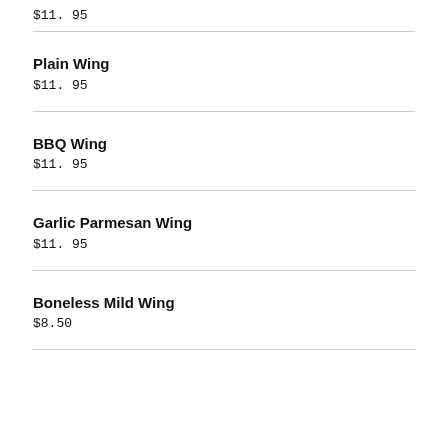$11. 95
Plain Wing
$11. 95
BBQ Wing
$11. 95
Garlic Parmesan Wing
$11. 95
Boneless Mild Wing
$8.50